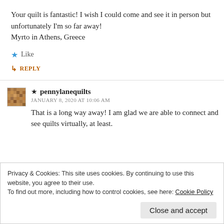Your quilt is fantastic! I wish I could come and see it in person but unfortunately I'm so far away!
Myrto in Athens, Greece
★ Like
↳ REPLY
★ pennylanequilts
JANUARY 8, 2020 AT 10:06 AM
That is a long way away! I am glad we are able to connect and see quilts virtually, at least.
Privacy & Cookies: This site uses cookies. By continuing to use this website, you agree to their use.
To find out more, including how to control cookies, see here: Cookie Policy
Close and accept